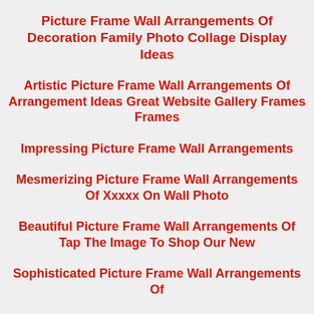Picture Frame Wall Arrangements Of Decoration Family Photo Collage Display Ideas
Artistic Picture Frame Wall Arrangements Of Arrangement Ideas Great Website Gallery Frames Frames
Impressing Picture Frame Wall Arrangements
Mesmerizing Picture Frame Wall Arrangements Of Xxxxx On Wall Photo
Beautiful Picture Frame Wall Arrangements Of Tap The Image To Shop Our New
Sophisticated Picture Frame Wall Arrangements Of